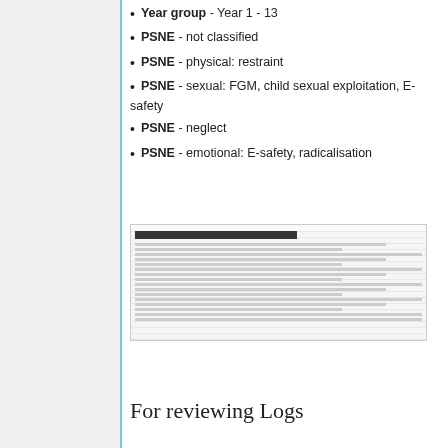Year group - Year 1 - 13
PSNE - not classified
PSNE - physical: restraint
PSNE - sexual: FGM, child sexual exploitation, E-safety
PSNE - neglect
PSNE - emotional: E-safety, radicalisation
[Figure (screenshot): Screenshot of a spreadsheet or data table showing logged entries with multiple columns and rows of data]
For reviewing Logs